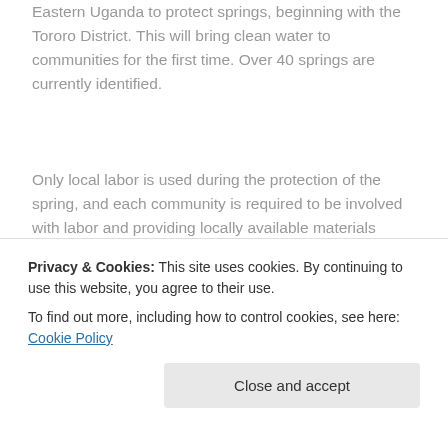Eastern Uganda to protect springs, beginning with the Tororo District. This will bring clean water to communities for the first time. Over 40 springs are currently identified.
Only local labor is used during the protection of the spring, and each community is required to be involved with labor and providing locally available materials (sand, stones, etc). Surveys show that community involvement drastically improves the long term success of the project.
The...
hygiene and sanitation workshops for the community,
Privacy & Cookies: This site uses cookies. By continuing to use this website, you agree to their use.
To find out more, including how to control cookies, see here: Cookie Policy